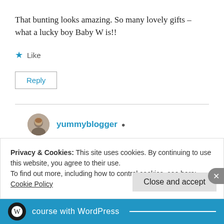That bunting looks amazing. So many lovely gifts – what a lucky boy Baby W is!!
★ Like
Reply
yummyblogger
July 2, 2014 at 12:37 pm
Privacy & Cookies: This site uses cookies. By continuing to use this website, you agree to their use.
To find out more, including how to control cookies, see here:
Cookie Policy
Close and accept
course with WordPress